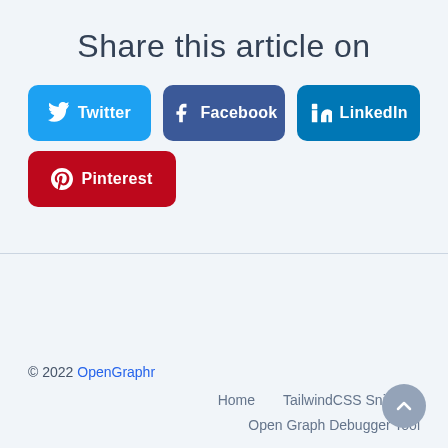Share this article on
[Figure (infographic): Social share buttons: Twitter (blue), Facebook (dark blue), LinkedIn (teal), Pinterest (red)]
© 2022 OpenGraphr
Home   TailwindCSS Snippets
Open Graph Debugger Tool